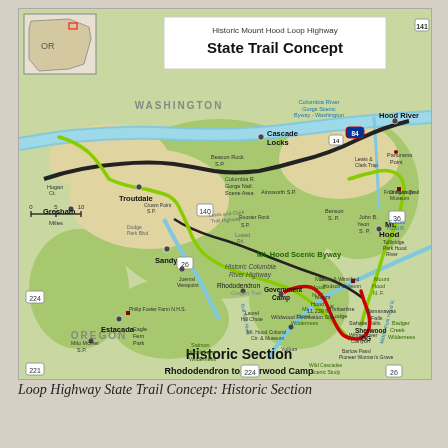[Figure (map): Map of Historic Mount Hood Loop Highway State Trail Concept showing the trail route in Oregon/Washington area. Features an inset Oregon state map, trail routes shown in green (existing), red (historic section from Rhododendron to Sherwood Camp), and black lines (highways). Key locations labeled include Troutdale, Gresham, Sandy, Estacada, Hood River, Mt. Hood, Cascade Locks, Government Camp, Rhododendron, and Sherwood Camp. Text on map: 'Historic Mount Hood Loop Highway State Trail Concept', 'Historic Section', 'Rhododendron to Sherwood Camp'. Various state parks, wilderness areas, and landmarks labeled throughout.]
Loop Highway State Trail Concept: Historic Section